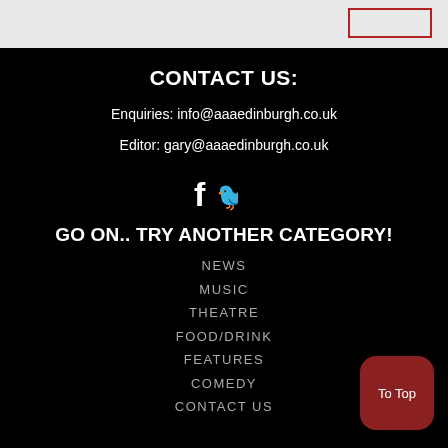[Figure (screenshot): Top navigation bar with light gray background and a red-bordered button on the right side]
CONTACT US:
Enquiries: info@aaaedinburgh.co.uk
Editor: gary@aaaedinburgh.co.uk
[Figure (infographic): Facebook and Twitter social media icons in white]
GO ON.. TRY ANOTHER CATEGORY!
NEWS
MUSIC
THEATRE
FOOD/DRINK
FEATURES
COMEDY
CONTACT US